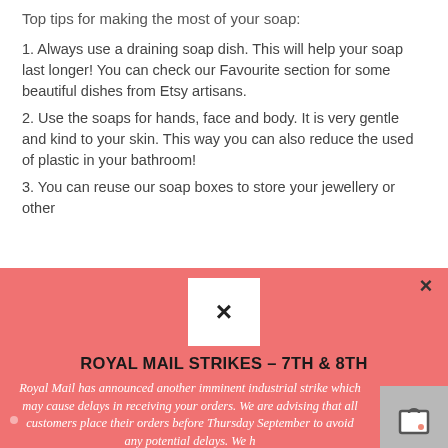Top tips for making the most of your soap:
1. Always use a draining soap dish. This will help your soap last longer! You can check our Favourite section for some beautiful dishes from Etsy artisans.
2. Use the soaps for hands, face and body. It is very gentle and kind to your skin. This way you can also reduce the used of plastic in your bathroom!
3. You can reuse our soap boxes to store your jewellery or other
[Figure (screenshot): Pink modal overlay with a white close button (X) at top, bold uppercase heading 'ROYAL MAIL STRIKES - 7TH & 8TH', italic white body text about Royal Mail announcing an imminent industrial strike causing delays, advising customers to place orders before Thursday September. A shopping bag icon appears bottom right.]